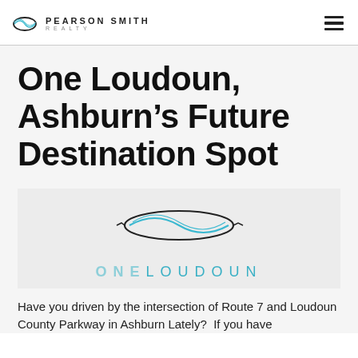Pearson Smith Realty
One Loudoun, Ashburn's Future Destination Spot
[Figure (logo): One Loudoun logo: an oval/lens shape with teal swoosh lines above the text ONE LOUDOUN in teal spaced letters]
Have you driven by the intersection of Route 7 and Loudoun County Parkway in Ashburn Lately?  If you have